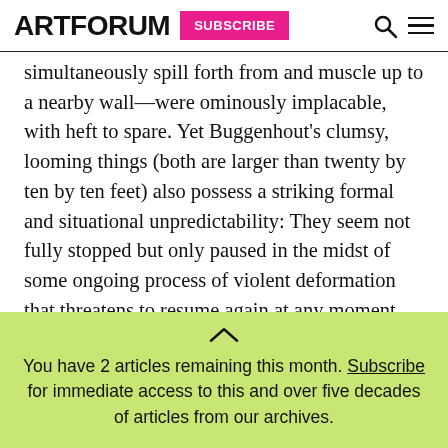ARTFORUM SUBSCRIBE
simultaneously spill forth from and muscle up to a nearby wall—were ominously implacable, with heft to spare. Yet Buggenhout's clumsy, looming things (both are larger than twenty by ten by ten feet) also possess a striking formal and situational unpredictability: They seem not fully stopped but only paused in the midst of some ongoing process of violent deformation that threatens to resume again at any moment, gathering up the viewer in its wake.
You have 2 articles remaining this month. Subscribe for immediate access to this and over five decades of articles from our archives.